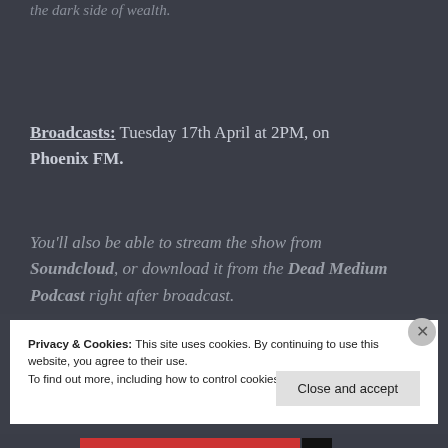the dark side of wealth.
Broadcasts: Tuesday 17th April at 2PM, on Phoenix FM.
You'll also be able to stream the show from Soundcloud, or download it from the Dead Medium Podcast right after broadcast.
Privacy & Cookies: This site uses cookies. By continuing to use this website, you agree to their use.
To find out more, including how to control cookies, see here: Cookie Policy